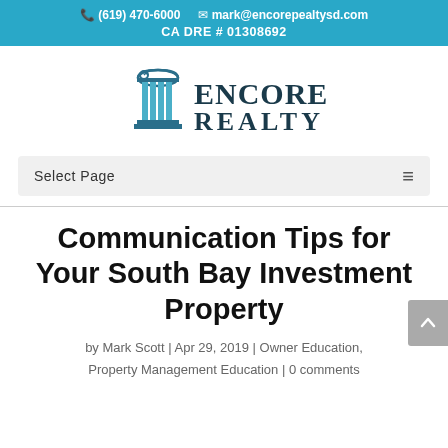(619) 470-6000  mark@encorерealtysd.com  CA DRE # 01308692
[Figure (logo): Encore Realty logo with stylized column icon and text 'ENCORE REALTY']
Select Page
Communication Tips for Your South Bay Investment Property
by Mark Scott | Apr 29, 2019 | Owner Education, Property Management Education | 0 comments